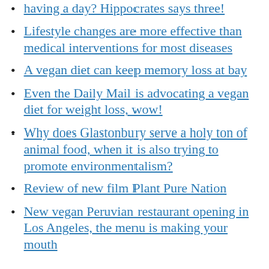having a day? Hippocrates says three!
Lifestyle changes are more effective than medical interventions for most diseases
A vegan diet can keep memory loss at bay
Even the Daily Mail is advocating a vegan diet for weight loss, wow!
Why does Glastonbury serve a holy ton of animal food, when it is also trying to promote environmentalism?
Review of new film Plant Pure Nation
New vegan Peruvian restaurant opening in Los Angeles, the menu is making your mouth